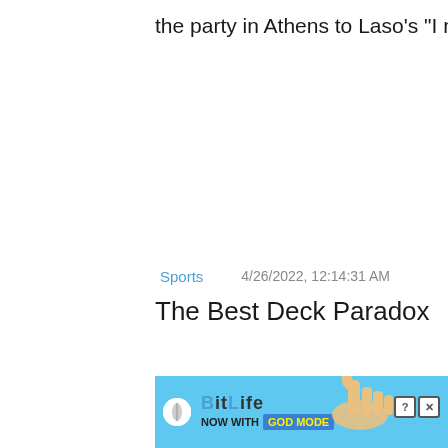the party in Athens to Laso's "I never"
Sports
4/26/2022, 12:14:31 AM
The Best Deck Paradox
Close X
[Figure (illustration): BitLife advertisement banner with blue background showing BitLife logo, 'NOW WITH GOD MODE' text, hand/finger pointing graphic, and close/help icons]